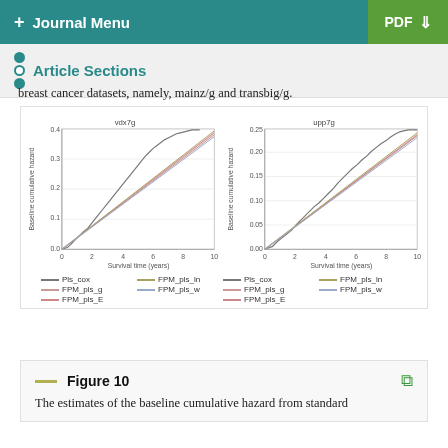+ Journal Menu   PDF ↓
Article Sections
breast cancer datasets, namely, mainz/g and transbig/g.
[Figure (continuous-plot): Two baseline cumulative hazard plots side by side. Left plot titled 'vdx7g' shows Baseline cumulative hazard (y-axis 0.0 to 0.4+) vs Survival time in years (x-axis 0 to 10). Right plot titled 'upp7g' shows Baseline cumulative hazard (y-axis 0.00 to 0.25+) vs Survival time in years (x-axis 0 to 10). Both plots show multiple overlapping lines for Pls_cox, FPM_pls_g, FPM_pls_E, FPM_pls_ln, FPM_pls_w.]
Figure 10
The estimates of the baseline cumulative hazard from standard